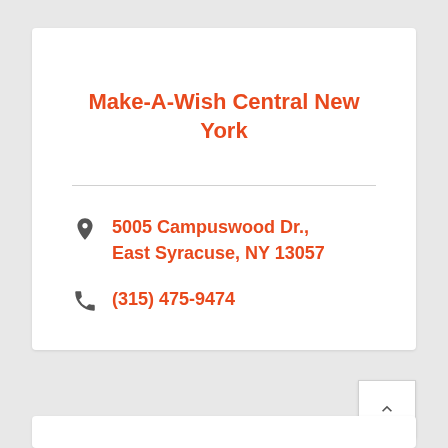Make-A-Wish Central New York
5005 Campuswood Dr., East Syracuse, NY 13057
(315) 475-9474